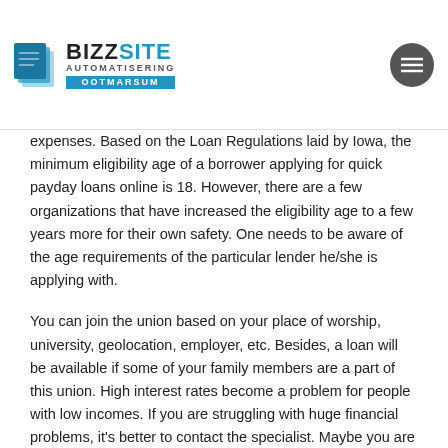BIZZSITE AUTOMATISERING OOTMARSUM
expenses. Based on the Loan Regulations laid by Iowa, the minimum eligibility age of a borrower applying for quick payday loans online is 18. However, there are a few organizations that have increased the eligibility age to a few years more for their own safety. One needs to be aware of the age requirements of the particular lender he/she is applying with.
You can join the union based on your place of worship, university, geolocation, employer, etc. Besides, a loan will be available if some of your family members are a part of this union. High interest rates become a problem for people with low incomes. If you are struggling with huge financial problems, it's better to contact the specialist. Maybe you are not qualified enough to solve this kind https://cashnetusa.biz/ of questions. Even if you know what to do, you can be confused with the situation you have. It's always better to hear an objective, neutral opinion. Quick Your time is an important part of life, and everyone understands it. In order to make your life more convenient, the